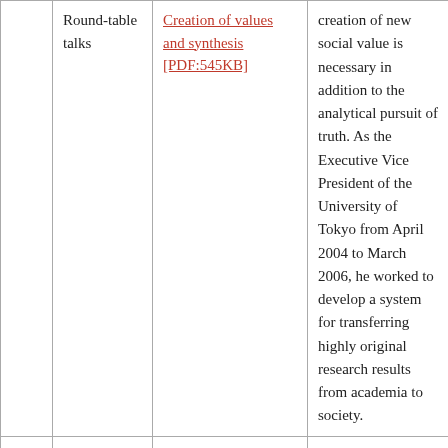|  | Round-table talks | Creation of values and synthesis [PDF:545KB] | creation of new social value is necessary in addition to the analytical pursuit of truth. As the Executive Vice President of the University of Tokyo from April 2004 to March 2006, he worked to develop a system for transferring highly original research results from academia to society. |
|  |  | Paleoclimate reconstruction and future forecast based | Global warming (due to increased carbon dioxide in the atmosphere) has attracted much |